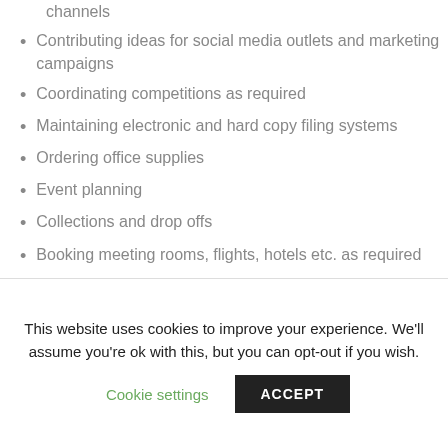channels
Contributing ideas for social media outlets and marketing campaigns
Coordinating competitions as required
Maintaining electronic and hard copy filing systems
Ordering office supplies
Event planning
Collections and drop offs
Booking meeting rooms, flights, hotels etc. as required
This website uses cookies to improve your experience. We'll assume you're ok with this, but you can opt-out if you wish.
Cookie settings   ACCEPT